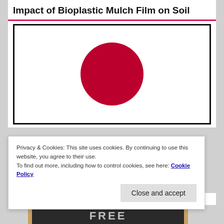Impact of Bioplastic Mulch Film on Soil
[Figure (photo): Japan flag: white background with a large red circle (hinomaru) centered on the flag, displayed within a black border frame.]
Privacy & Cookies: This site uses cookies. By continuing to use this website, you agree to their use.
To find out more, including how to control cookies, see here: Cookie Policy
Close and accept
READ FREE CONTENT
[Figure (photo): Chalkboard with text 'FREE' written in chalk, partially visible at the bottom of the page.]